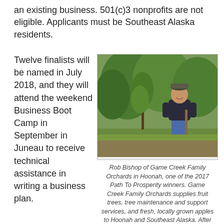an existing business. 501(c)3 nonprofits are not eligible. Applicants must be Southeast Alaska residents.
Twelve finalists will be named in July 2018, and they will attend the weekend Business Boot Camp in September in Juneau to receive technical assistance in writing a business plan.
[Figure (photo): A man smiling, seated on a shovel handle next to a fruit tree in a green orchard setting. He is wearing a dark blue hoodie, jeans, and a cap.]
Rob Bishop of Game Creek Family Orchards in Hoonah, one of the 2017 Path To Prosperity winners. Game Creek Family Orchards supplies fruit trees, tree maintenance and support services, and fresh, locally grown apples to Hoonah and Southeast Alaska. After years of experimenting with local and disease resistant rootstocks, Game Creek Family Orchards has developed a reputation